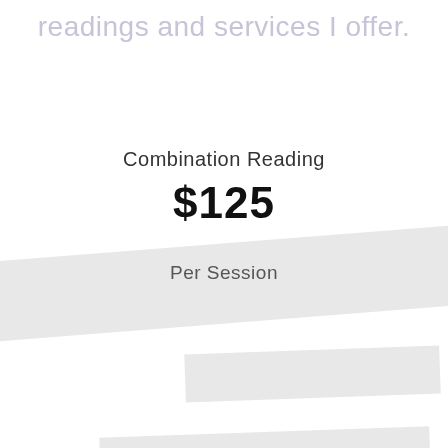readings and services I offer.
Combination Reading
$125
Per Session